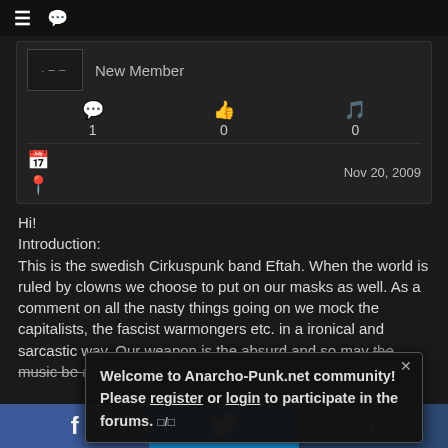≡  💬
New Member
1  0  0
Nov 20, 2009
Hi!
Introduction:
This is the swedish Cirkuspunk band Eftah. When the world is ruled by clowns we choose to put on our masks as well. As a comment on all the nasty things going on we mock the capitalists, the fascist warmongers etc. in a ironical and sarcastic way. Our weapon is the absurd and so may the music be as well.

We will so... to download. In meantime...
Welcome to Anarcho-Punk.net community! Please register or login to participate in the forums. □/□
f  🐦  t